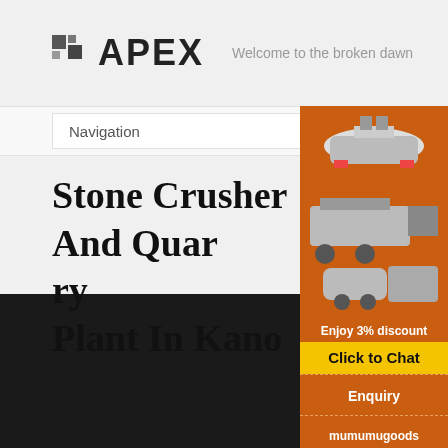APEX — Welcome to the broken dawn
Navigation
Stone Crusher And Quarry Plant In Kano
[Figure (advertisement): Orange advertisement banner for stone crusher machinery showing crusher equipment images, 'Enjoy 3% discount', 'Click to Chat' button in yellow, Enquiry link, and contact email mumumugoods@gmail.com]